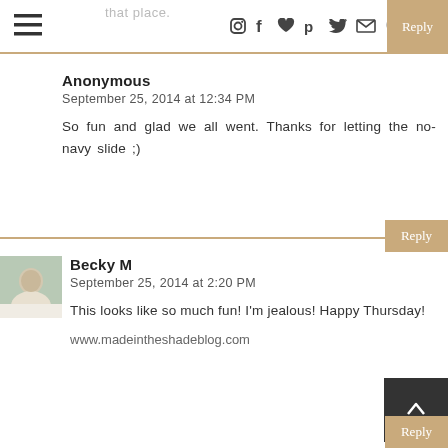≡  [icons: instagram, facebook, heart, pinterest, twitter, mail, search]  Reply
Anonymous
September 25, 2014 at 12:34 PM

So fun and glad we all went. Thanks for letting the no-navy slide ;)
Reply
Becky M
September 25, 2014 at 2:20 PM

This looks like so much fun! I'm jealous! Happy Thursday!

www.madeintheshadeblog.com
Reply